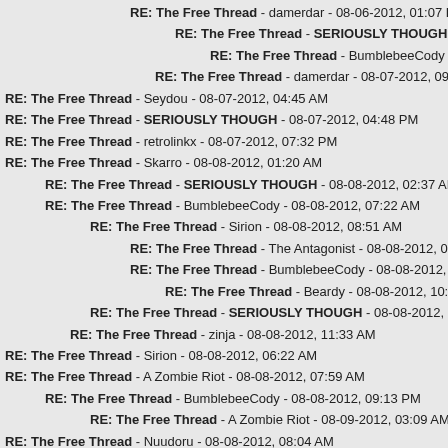RE: The Free Thread - damerdar - 08-06-2012, 01:07 PM
RE: The Free Thread - SERIOUSLY THOUGH - 08-06-2012, 08:4
RE: The Free Thread - BumblebeeCody - 08-07-2012, 10:29 A
RE: The Free Thread - damerdar - 08-07-2012, 09:40 AM
RE: The Free Thread - Seydou - 08-07-2012, 04:45 AM
RE: The Free Thread - SERIOUSLY THOUGH - 08-07-2012, 04:48 PM
RE: The Free Thread - retrolinkx - 08-07-2012, 07:32 PM
RE: The Free Thread - Skarro - 08-08-2012, 01:20 AM
RE: The Free Thread - SERIOUSLY THOUGH - 08-08-2012, 02:37 AM
RE: The Free Thread - BumblebeeCody - 08-08-2012, 07:22 AM
RE: The Free Thread - Sirion - 08-08-2012, 08:51 AM
RE: The Free Thread - The Antagonist - 08-08-2012, 09:03 AM
RE: The Free Thread - BumblebeeCody - 08-08-2012, 10:35 AM
RE: The Free Thread - Beardy - 08-08-2012, 10:38 AM
RE: The Free Thread - SERIOUSLY THOUGH - 08-08-2012, 09:17 PM
RE: The Free Thread - zinja - 08-08-2012, 11:33 AM
RE: The Free Thread - Sirion - 08-08-2012, 06:22 AM
RE: The Free Thread - A Zombie Riot - 08-08-2012, 07:59 AM
RE: The Free Thread - BumblebeeCody - 08-08-2012, 09:13 PM
RE: The Free Thread - A Zombie Riot - 08-09-2012, 03:09 AM
RE: The Free Thread - Nuudoru - 08-08-2012, 08:04 AM
RE: The Free Thread - DHXIII - 08-08-2012, 09:12 AM
RE: The Free Thread - cingchris - 08-08-2012, 02:19 PM
RE: The Free Thread - Sirion - 08-09-2012, 05:27 AM